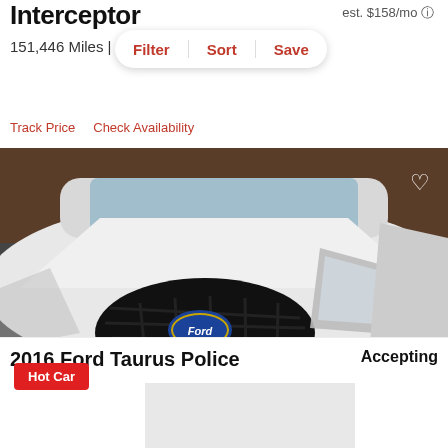Interceptor
est. $158/mo
151,446 Miles |
Filter  Sort  Save
Track Price   Check Availability
[Figure (photo): Front view of a white 2016 Ford Taurus Police Interceptor sedan with a green dealer plate, photographed in a parking area. A red 'Hot Car' badge is overlaid at bottom left, and a heart/favorite icon at top right.]
2016 Ford Taurus Police
Accepting